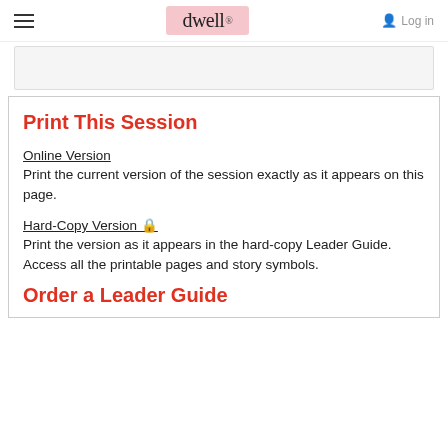≡  dwell  Log in
[Figure (screenshot): Gray content box placeholder area]
Print This Session
Online Version
Print the current version of the session exactly as it appears on this page.
Hard-Copy Version 🔒
Print the version as it appears in the hard-copy Leader Guide. Access all the printable pages and story symbols.
Order a Leader Guide